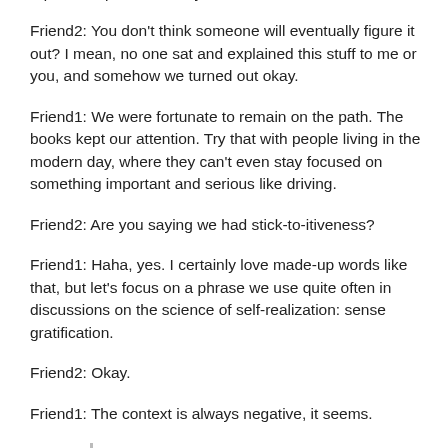equivalent phrases every now and then.
Friend2: You don't think someone will eventually figure it out? I mean, no one sat and explained this stuff to me or you, and somehow we turned out okay.
Friend1: We were fortunate to remain on the path. The books kept our attention. Try that with people living in the modern day, where they can't even stay focused on something important and serious like driving.
Friend2: Are you saying we had stick-to-itiveness?
Friend1: Haha, yes. I certainly love made-up words like that, but let's focus on a phrase we use quite often in discussions on the science of self-realization: sense gratification.
Friend2: Okay.
Friend1: The context is always negative, it seems.
“Don’t be a sense gratifier. Watch out for sense gratification. The pure devotee is